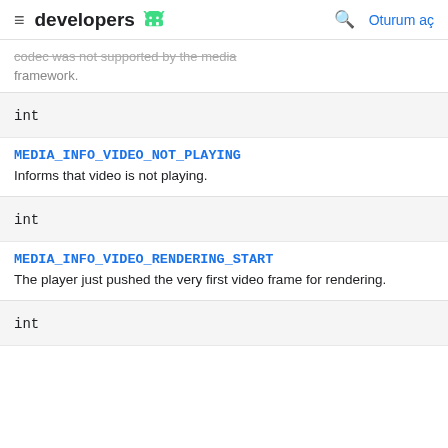developers  Oturum aç
...codec was not supported by the media framework.
int
MEDIA_INFO_VIDEO_NOT_PLAYING
Informs that video is not playing.
int
MEDIA_INFO_VIDEO_RENDERING_START
The player just pushed the very first video frame for rendering.
int